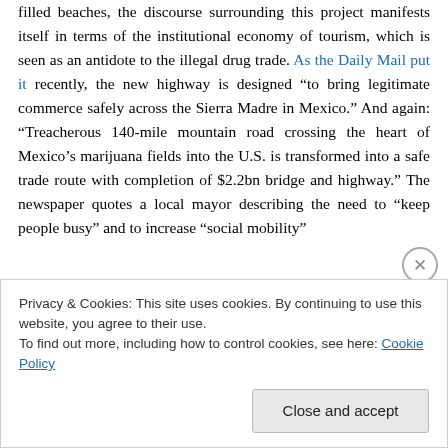filled beaches, the discourse surrounding this project manifests itself in terms of the institutional economy of tourism, which is seen as an antidote to the illegal drug trade. As the Daily Mail put it recently, the new highway is designed “to bring legitimate commerce safely across the Sierra Madre in Mexico.” And again: “Treacherous 140-mile mountain road crossing the heart of Mexico's marijuana fields into the U.S. is transformed into a safe trade route with completion of $2.2bn bridge and highway.” The newspaper quotes a local mayor describing the need to “keep people busy” and to increase “social mobility”
Privacy & Cookies: This site uses cookies. By continuing to use this website, you agree to their use.
To find out more, including how to control cookies, see here: Cookie Policy
Close and accept